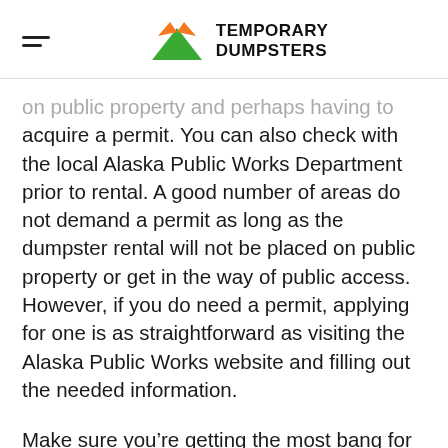TEMPORARY DUMPSTERS
on public property and perhaps having to acquire a permit. You can also check with the local Alaska Public Works Department prior to rental. A good number of areas do not demand a permit as long as the dumpster rental will not be placed on public property or get in the way of public access. However, if you do need a permit, applying for one is as straightforward as visiting the Alaska Public Works website and filling out the needed information.

Make sure you’re getting the most bang for your buck when disposing of waste materials